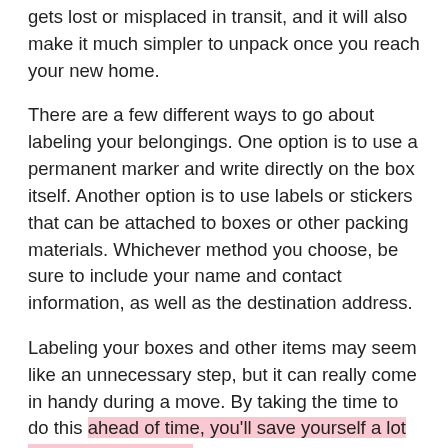gets lost or misplaced in transit, and it will also make it much simpler to unpack once you reach your new home.
There are a few different ways to go about labeling your belongings. One option is to use a permanent marker and write directly on the box itself. Another option is to use labels or stickers that can be attached to boxes or other packing materials. Whichever method you choose, be sure to include your name and contact information, as well as the destination address.
Labeling your boxes and other items may seem like an unnecessary step, but it can really come in handy during a move. By taking the time to do this ahead of time, you'll save yourself a lot of hassle and stress later on.